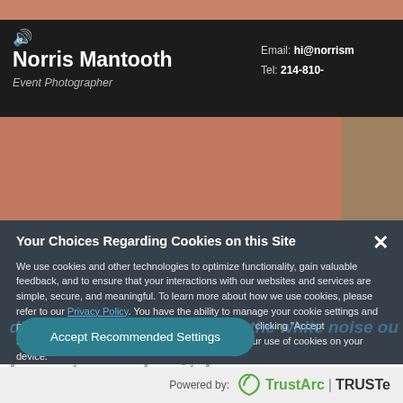[Figure (photo): Photo of a black business card or sunglasses arm being held, showing name 'Norris Mantooth, Event Photographer' with email hi@norrism... and Tel: 214-810-... on a dark background, with pink/skin-toned hand visible above and below.]
Your Choices Regarding Cookies on this Site
We use cookies and other technologies to optimize functionality, gain valuable feedback, and to ensure that your interactions with our websites and services are simple, secure, and meaningful. To learn more about how we use cookies, please refer to our Privacy Policy. You have the ability to manage your cookie settings and preferences by clicking "Change Settings." Otherwise, clicking "Accept Recommended Settings" indicates that you agree to our use of cookies on your device.
Change Settings
Accept Recommended Settings
Powered by: TrustArc | TRUSTe